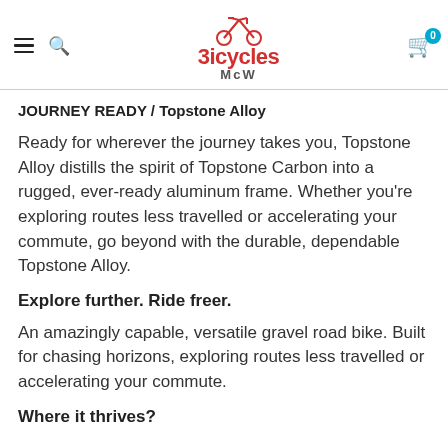Bicycles McW
JOURNEY READY / Topstone Alloy
Ready for wherever the journey takes you, Topstone Alloy distills the spirit of Topstone Carbon into a rugged, ever-ready aluminum frame. Whether you're exploring routes less travelled or accelerating your commute, go beyond with the durable, dependable Topstone Alloy.
Explore further. Ride freer.
An amazingly capable, versatile gravel road bike. Built for chasing horizons, exploring routes less travelled or accelerating your commute.
Where it thrives?